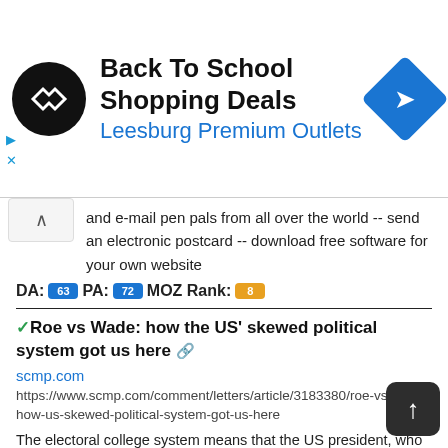[Figure (screenshot): Ad banner for Back To School Shopping Deals at Leesburg Premium Outlets, with circular black logo with diamond arrow icon, blue diamond navigation icon on right, and ad control icons (play, close) on left side.]
and e-mail pen pals from all over the world -- send an electronic postcard -- download free software for your own website
DA: 63 PA: 72 MOZ Rank: 8
✓Roe vs Wade: how the US' skewed political system got us here 🔗
scmp.com
https://www.scmp.com/comment/letters/article/3183380/roe-vs-wade-how-us-skewed-political-system-got-us-here
The electoral college system means that the US president, who nominates and ultimately appoints Supreme Court justices, may not have won the popular vote. The people of …
DA: 95 PA: 31 MOZ Rank: 10
✓Stream UFC 278: Usman vs Edwards 2 live on ESPN+